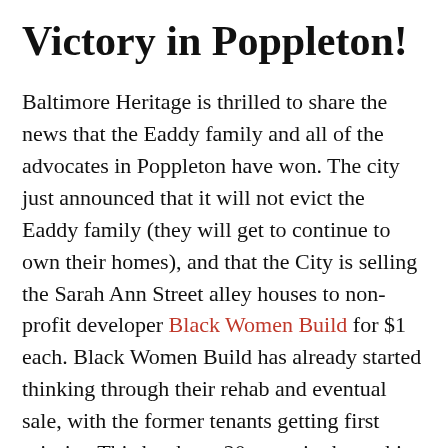Victory in Poppleton!
Baltimore Heritage is thrilled to share the news that the Eaddy family and all of the advocates in Poppleton have won. The city just announced that it will not evict the Eaddy family (they will get to continue to own their homes), and that the City is selling the Sarah Ann Street alley houses to non-profit developer Black Women Build for $1 each. Black Women Build has already started thinking through their rehab and eventual sale, with the former tenants getting first priority. This has been 20 years in the making and is a huge victory. A big thank you and congratulations to the Eaddy